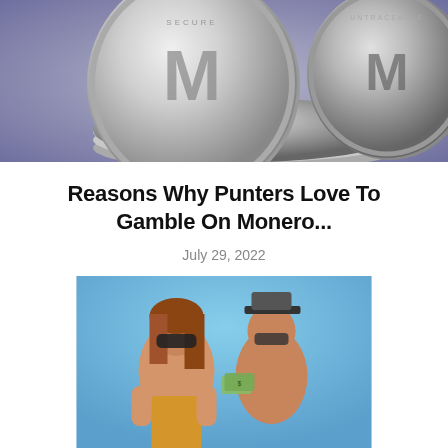[Figure (photo): Two silver Monero (XMR) cryptocurrency coins with the letter M logo, one standing upright and one lying flat, on a light purple/gray background. Text around the coins reads: SECURE, PRIVATE, UNTRACEABLE, XMR.]
Reasons Why Punters Love To Gamble On Monero...
July 29, 2022
[Figure (photo): Two people wearing masks standing together against a blue background, one appears to hold money.]